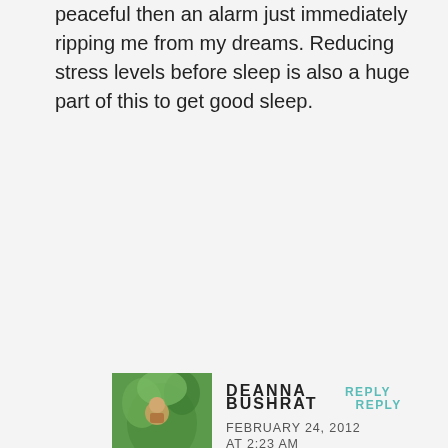peaceful then an alarm just immediately ripping me from my dreams. Reducing stress levels before sleep is also a huge part of this to get good sleep.
BUSHRAT  REPLY
FEBRUARY 24, 2012 AT 2:23 AM
What aas the brand?
DEANNA  REPLY